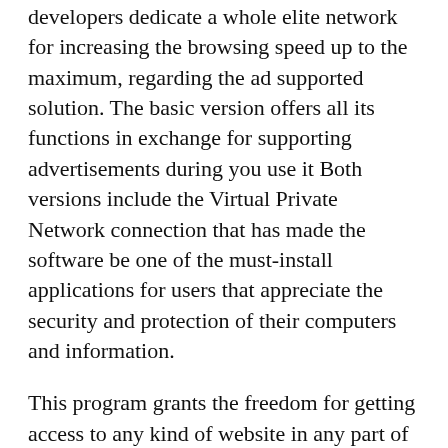developers dedicate a whole elite network for increasing the browsing speed up to the maximum, regarding the ad supported solution. The basic version offers all its functions in exchange for supporting advertisements during you use it Both versions include the Virtual Private Network connection that has made the software be one of the must-install applications for users that appreciate the security and protection of their computers and information.
This program grants the freedom for getting access to any kind of website in any part of the world like China, Saudi Arabia or Iran, as well as other online services that are only related to one specific country such as Hulu or Pandora for video streaming.
Hotspot Shield 5. Conclusion Hotspot Shield ensures access to any content on the Internet even if it blocked in your country due to geographical restrictions. Get better protection while you are